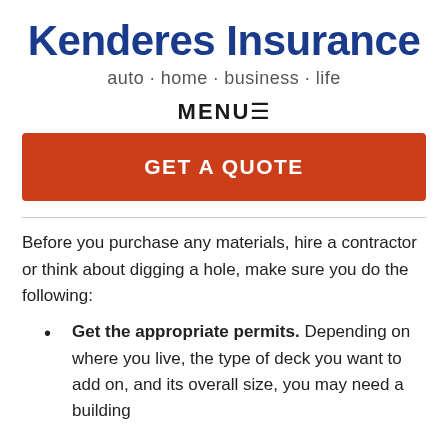Kenderes Insurance
auto · home · business · life
MENU☰
GET A QUOTE
Before you purchase any materials, hire a contractor or think about digging a hole, make sure you do the following:
Get the appropriate permits. Depending on where you live, the type of deck you want to add on, and its overall size, you may need a building